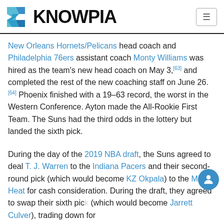KNOWPIA
New Orleans Hornets/Pelicans head coach and Philadelphia 76ers assistant coach Monty Williams was hired as the team's new head coach on May 3,[63] and completed the rest of the new coaching staff on June 26.[64] Phoenix finished with a 19–63 record, the worst in the Western Conference. Ayton made the All-Rookie First Team. The Suns had the third odds in the lottery but landed the sixth pick.
During the day of the 2019 NBA draft, the Suns agreed to deal T. J. Warren to the Indiana Pacers and their second-round pick (which would become KZ Okpala) to the Miami Heat for cash consideration. During the draft, they agreed to swap their sixth pick (which would become Jarrett Culver), trading down for